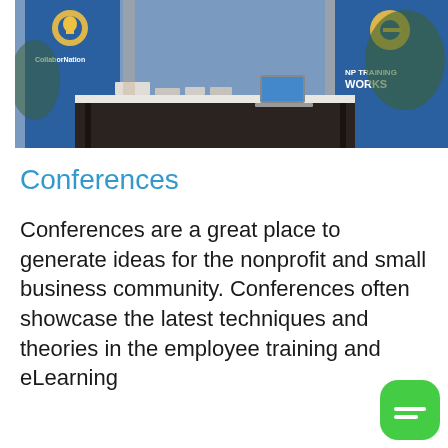[Figure (photo): Photo of a conference booth/exhibit table with banners. One banner reads 'CollaborNation' with a lightbulb logo, another reads 'NP TRAINING WORKS' with a key/circle logo. A table with materials and a laptop is visible.]
Conferences
Conferences are a great place to generate ideas for the nonprofit and small business community. Conferences often showcase the latest techniques and theories in the employee training and eLearning